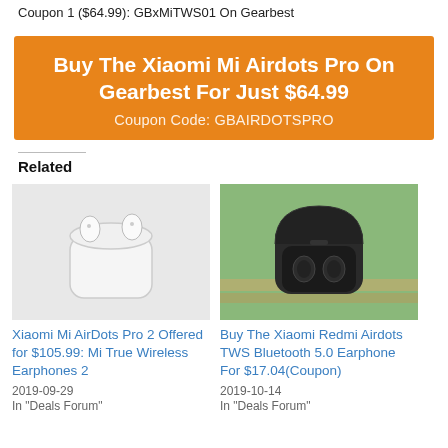Coupon 1 ($64.99): GBxMiTWS01 On Gearbest
[Figure (infographic): Orange banner with text: Buy The Xiaomi Mi Airdots Pro On Gearbest For Just $64.99, Coupon Code: GBAIRDOTSPRO]
Related
[Figure (photo): Xiaomi Mi AirDots Pro 2 white wireless earphones in open case on white background]
Xiaomi Mi AirDots Pro 2 Offered for $105.99: Mi True Wireless Earphones 2
2019-09-29
In "Deals Forum"
[Figure (photo): Xiaomi Redmi Airdots black wireless earphones in open charging case on wooden surface with green background]
Buy The Xiaomi Redmi Airdots TWS Bluetooth 5.0 Earphone For $17.04(Coupon)
2019-10-14
In "Deals Forum"